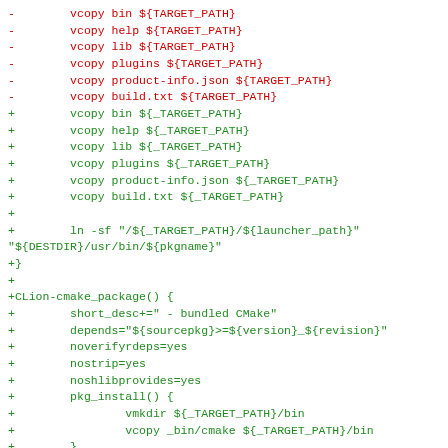Diff showing removal of ${TARGET_PATH} lines and addition of ${_TARGET_PATH} lines, plus new CLion cmake and gdb package definitions.